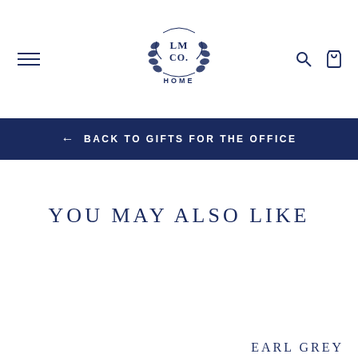LM CO HOME — navigation header with hamburger menu, logo, search and cart icons
← BACK TO GIFTS FOR THE OFFICE
YOU MAY ALSO LIKE
EARL GREY